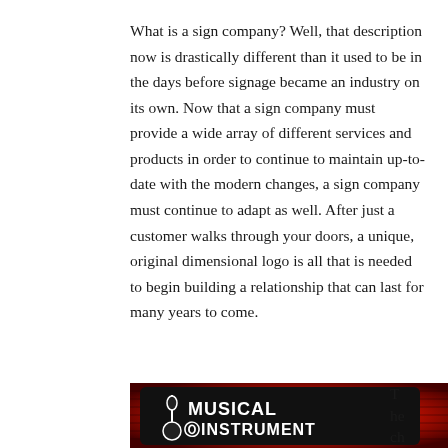What is a sign company? Well, that description now is drastically different than it used to be in the days before signage became an industry on its own. Now that a sign company must provide a wide array of different services and products in order to continue to maintain up-to-date with the modern changes, a sign company must continue to adapt as well. After just a customer walks through your doors, a unique, original dimensional logo is all that is needed to begin building a relationship that can last for many years to come.
[Figure (photo): A dimensional sign for Musical Instrument Displays with a guitar icon, white text on black background with red glowing backlight.]
The change